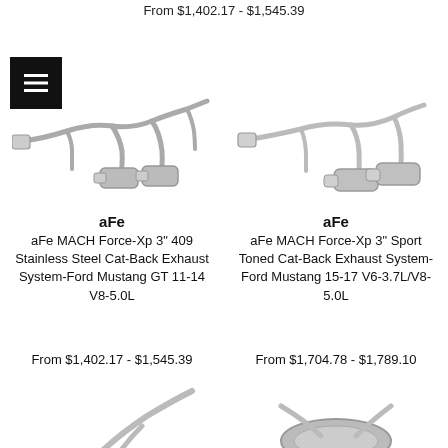From $1,402.17 - $1,545.39
[Figure (photo): aFe MACH Force-Xp cat-back exhaust system for Ford Mustang GT, stainless steel pipes with mufflers]
[Figure (photo): aFe MACH Force-Xp cat-back exhaust system for Ford Mustang, sport toned, stainless steel pipes with mufflers]
aFe
aFe MACH Force-Xp 3" 409 Stainless Steel Cat-Back Exhaust System-Ford Mustang GT 11-14 V8-5.0L
From $1,402.17 - $1,545.39
aFe
aFe MACH Force-Xp 3" Sport Toned Cat-Back Exhaust System- Ford Mustang 15-17 V6-3.7L/V8-5.0L
From $1,704.78 - $1,789.10
[Figure (photo): Partial view of another exhaust system product (bottom of page, clipped)]
[Figure (photo): Partial view of another exhaust/muffler product (bottom of page, clipped)]